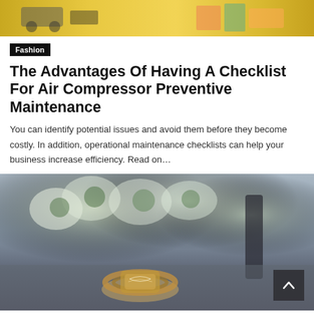[Figure (photo): Top portion of a webpage showing toys/objects on a yellow/orange background, partially cropped]
Fashion
The Advantages Of Having A Checklist For Air Compressor Preventive Maintenance
You can identify potential issues and avoid them before they become costly. In addition, operational maintenance checklists can help your business increase efficiency. Read on…
[Figure (photo): Close-up photo of a decorative ring with floral/filigree metalwork, placed among white flowers with a blurred background in cool blue-grey tones]